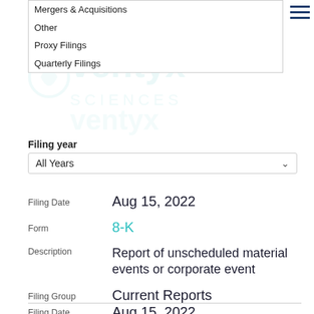Mergers & Acquisitions
Other
Proxy Filings
Quarterly Filings
Filing year
All Years
| Field | Value |
| --- | --- |
| Filing Date | Aug 15, 2022 |
| Form | 8-K |
| Description | Report of unscheduled material events or corporate event |
| Filing Group | Current Reports |
| View |  |
Filing Date   Aug 15, 2022